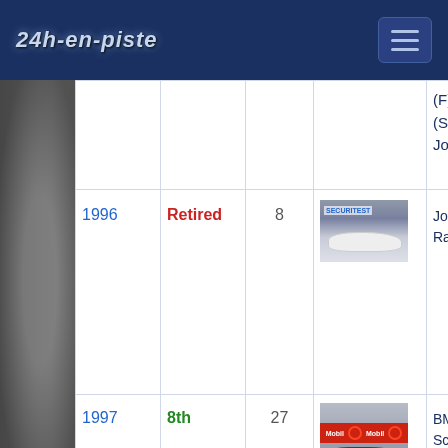24h-en-piste
| Year | Result | # | Photo | Team |
| --- | --- | --- | --- | --- |
|  |  |  |  | (F) (Scuder... Jolly Cl... |
| 1996 | Retired | 8 | [photo] | Joest Racing |
| 1997 | 8th | 27 | [photo] | BMS Scuderi... |